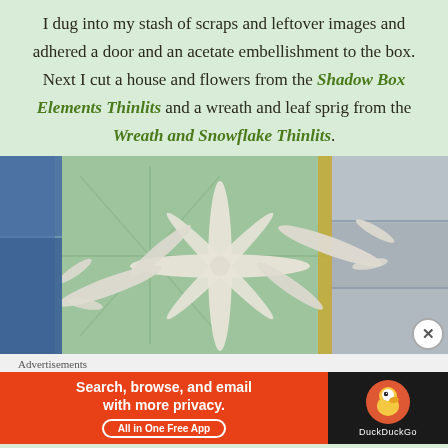I dug into my stash of scraps and leftover images and adhered a door and an acetate embellishment to the box. Next I cut a house and flowers from the Shadow Box Elements Thinlits and a wreath and leaf sprig from the Wreath and Snowflake Thinlits.
[Figure (photo): Close-up photograph of white clay or paper craft snowflake and leaf sprig embellishments placed against a green textured shadow box background with wood panel elements visible.]
Advertisements
[Figure (other): DuckDuckGo advertisement banner: 'Search, browse, and email with more privacy. All in One Free App' with DuckDuckGo logo on dark right panel.]